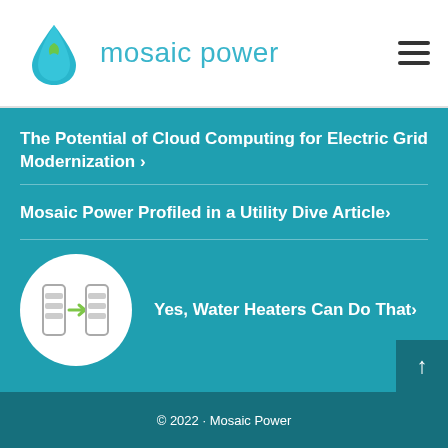mosaic power
The Potential of Cloud Computing for Electric Grid Modernization ›
Mosaic Power Profiled in a Utility Dive Article›
[Figure (logo): Circular white icon with water heater diagram and green arrow]
Yes, Water Heaters Can Do That›
© 2022 · Mosaic Power